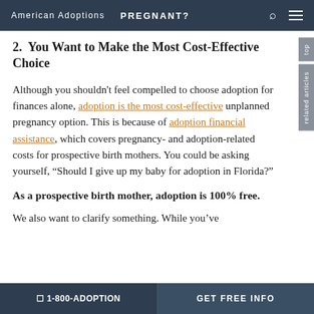American Adoptions  PREGNANT?
2.  You Want to Make the Most Cost-Effective Choice
Although you shouldn't feel compelled to choose adoption for finances alone, adoption is the most cost-effective unplanned pregnancy option. This is because of adoption financial assistance, which covers pregnancy- and adoption-related costs for prospective birth mothers. You could be asking yourself, “Should I give up my baby for adoption in Florida?”
As a prospective birth mother, adoption is 100% free.
We also want to clarify something. While you’ve
☐ 1-800-ADOPTION    GET FREE INFO